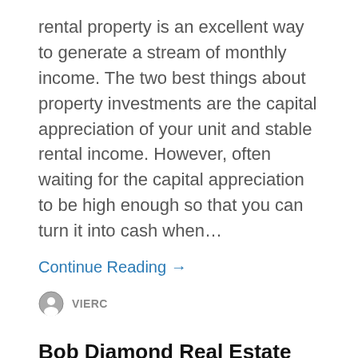rental property is an excellent way to generate a stream of monthly income. The two best things about property investments are the capital appreciation of your unit and stable rental income. However, often waiting for the capital appreciation to be high enough so that you can turn it into cash when…
Continue Reading →
VIERC
Bob Diamond Real Estate Reviews Common Mistakes Committed by Real Estate Investors?
Bob Diamond Real Estate reviews real estate